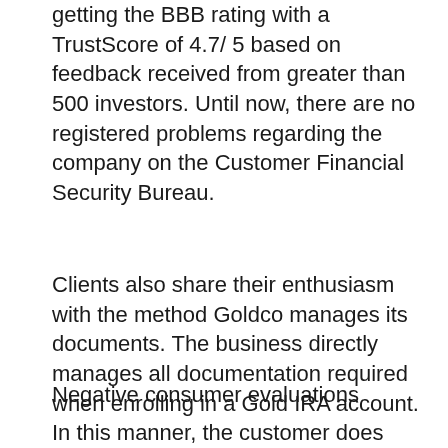getting the BBB rating with a TrustScore of 4.7/ 5 based on feedback received from greater than 500 investors. Until now, there are no registered problems regarding the company on the Customer Financial Security Bureau.
Clients also share their enthusiasm with the method Goldco manages its documents. The business directly manages all documentation required when enrolling in a Gold IRA account. In this manner, the customer does not need to call IRA custodians or storage centers.
Negative consumer evaluations
Most of the negative evaluations about